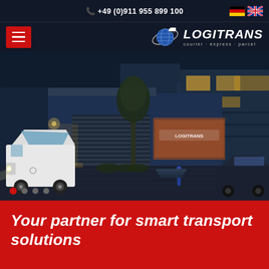+49 (0)911 955 899 100
[Figure (logo): LOGITRANS courier-express-parcel logo with globe graphic]
[Figure (photo): Nighttime exterior photo of a logistics company building with a white Mercedes delivery van parked outside, illuminated entrance with LOGITRANS signage, trees and cars visible]
Your partner for smart transport solutions